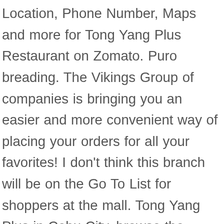Location, Phone Number, Maps and more for Tong Yang Plus Restaurant on Zomato. Puro breading. The Vikings Group of companies is bringing you an easier and more convenient way of placing your orders for all your favorites! I don't think this branch will be on the Go To List for shoppers at the mall. Tong Yang Plus in Cebu City, browse the original menu, read the reviews and find out the prices, on Sluurpy Tong Yang Plus achieved more than 98 ratings If you don't care about the ambience that you make your customers feel while they are eating at your resto. Tong Yang Plus. Facebook gives people the power to share … All trademarks are properties of their respective owners. Monday — Friday Lunch: 11:00 am - 2:30 pm | Dinner: 5:30 pm - 9:00 pm (10:00 pm for MOA & The Block, SM North EDSA) Saturday — Sunday Lunch: 11:00 am